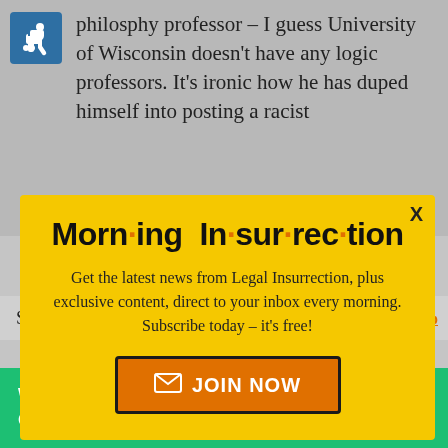philosphy professor – I guess University of Wisconsin doesn't have any logic professors. It's ironic how he has duped himself into posting a racist
[Figure (screenshot): Modal popup with yellow background: 'Morn·ing In·sur·rec·tion' newsletter signup. Text: 'Get the latest news from Legal Insurrection, plus exclusive content, direct to your inbox every morning. Subscribe today – it's free!' with orange JOIN NOW button.]
Scandalous.
[Figure (screenshot): Small X close button in white box]
Back to top
[Figure (screenshot): Green Fiverr banner: 'Working from home? Get your projects done on fiverr']